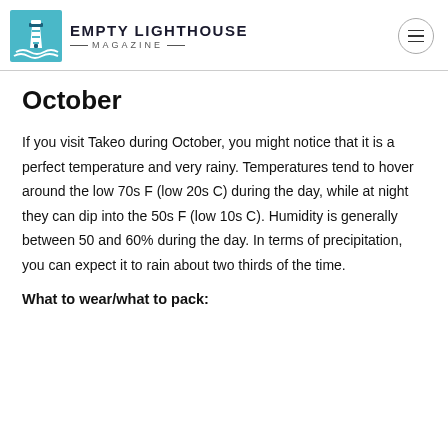EMPTY LIGHTHOUSE MAGAZINE
October
If you visit Takeo during October, you might notice that it is a perfect temperature and very rainy. Temperatures tend to hover around the low 70s F (low 20s C) during the day, while at night they can dip into the 50s F (low 10s C). Humidity is generally between 50 and 60% during the day. In terms of precipitation, you can expect it to rain about two thirds of the time.
What to wear/what to pack: